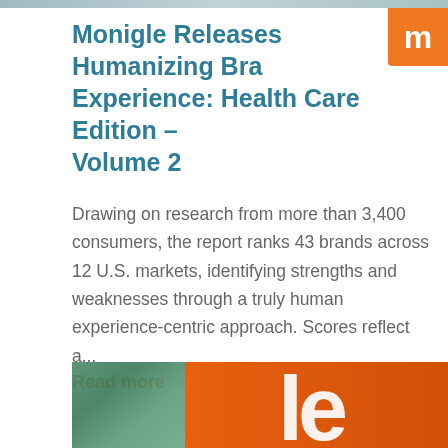[Figure (photo): Thin image strip at the top of the page]
[Figure (logo): Orange square badge with white lowercase letter 'm' in the top right corner]
Monigle Releases Humanizing Brand Experience: Health Care Edition – Volume 2
Drawing on research from more than 3,400 consumers, the report ranks 43 brands across 12 U.S. markets, identifying strengths and weaknesses through a truly human experience-centric approach. Scores reflect a...
Read more →
[Figure (photo): Orange background with white 3D letters 'le' visible, and a smaller image on the left with green/blue tones]